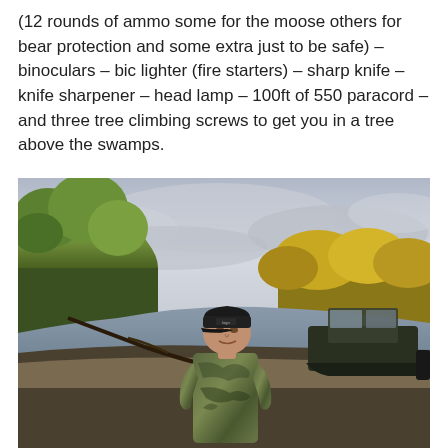(12 rounds of ammo some for the moose others for bear protection and some extra just to be safe) – binoculars – bic lighter (fire starters) – sharp knife – knife sharpener – head lamp – 100ft of 550 paracord – and three tree climbing screws to get you in a tree above the swamps.
[Figure (photo): A man in camouflage clothing and a black cap standing on a riverbank. Behind him is a dark-colored motorboat on the water. The background shows autumn trees with yellow and green foliage under an overcast sky.]